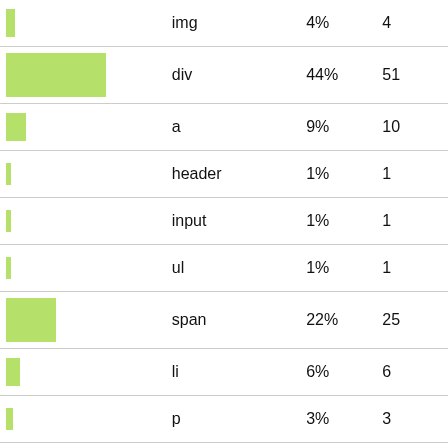| Bar | Tag | % | Count |
| --- | --- | --- | --- |
| img | 4% | 4 |
| div | 44% | 51 |
| a | 9% | 10 |
| header | 1% | 1 |
| input | 1% | 1 |
| ul | 1% | 1 |
| span | 22% | 25 |
| li | 6% | 6 |
| p | 3% | 3 |
| ol | 2% | 2 |
| strong | 6% | 6 |
| menu | 1% | 1 |